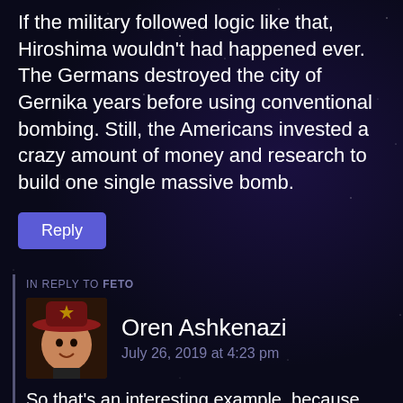If the military followed logic like that, Hiroshima wouldn't had happened ever. The Germans destroyed the city of Gernika years before using conventional bombing. Still, the Americans invested a crazy amount of money and research to build one single massive bomb.
Reply
IN REPLY TO FETO
Oren Ashkenazi
July 26, 2019 at 4:23 pm
So that's an interesting example, because while it's certainly possible to level a city without